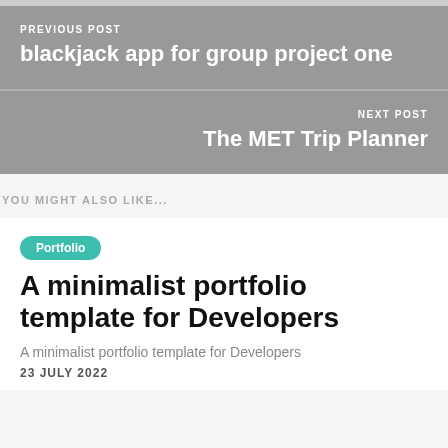PREVIOUS POST
blackjack app for group project one
NEXT POST
The MET Trip Planner
YOU MIGHT ALSO LIKE...
Portfolio
A minimalist portfolio template for Developers
A minimalist portfolio template for Developers
23 JULY 2022